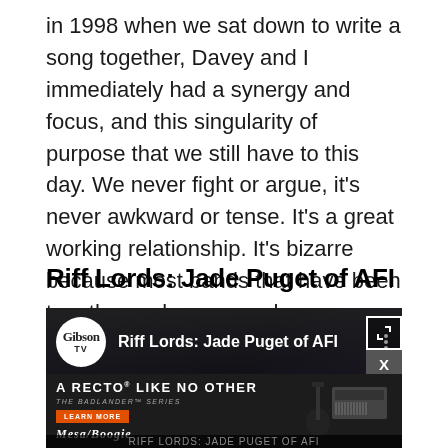in 1998 when we sat down to write a song together, Davey and I immediately had a synergy and focus, and this singularity of purpose that we still have to this day. We never fight or argue, it's never awkward or tense. It's a great working relationship. It's bizarre because most bands that have been together as long as we have seem to hate each other. They don't want to be around each other, they have separate dressing rooms, but we don't have that."
Riff Lords: Jade Puget of AFI
[Figure (screenshot): Video thumbnail for 'Riff Lords: Jade Puget of AFI' on Gibson TV, showing a dark-skinned person in front of dark background, with a Mesa/Boogie advertisement overlay at the bottom showing 'A RECTO LIKE NO OTHER - THE BADLANDER SERIES' with guitar image.]